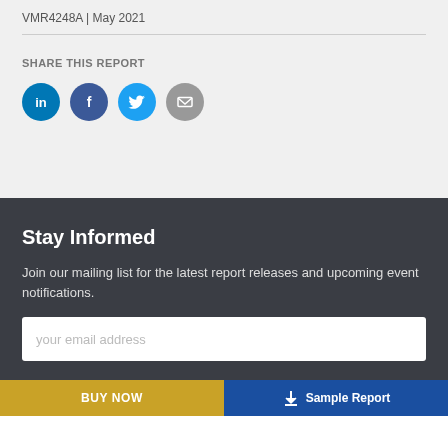VMR4248A | May 2021
SHARE THIS REPORT
[Figure (infographic): Four social share icons: LinkedIn (blue), Facebook (dark blue), Twitter (light blue), Email (gray)]
Stay Informed
Join our mailing list for the latest report releases and upcoming event notifications.
your email address
BUY NOW
Sample Report